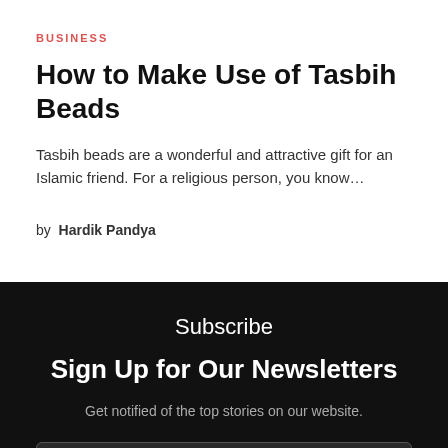BUSINESS
How to Make Use of Tasbih Beads
Tasbih beads are a wonderful and attractive gift for an Islamic friend. For a religious person, you know…
by Hardik Pandya
Subscribe
Sign Up for Our Newsletters
Get notified of the top stories on our website.
Enter your email